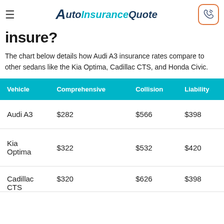AutoInsuranceQuote
insure?
The chart below details how Audi A3 insurance rates compare to other sedans like the Kia Optima, Cadillac CTS, and Honda Civic.
| Vehicle | Comprehensive | Collision | Liability |
| --- | --- | --- | --- |
| Audi A3 | $282 | $566 | $398 |
| Kia Optima | $322 | $532 | $420 |
| Cadillac CTS | $320 | $626 | $398 |